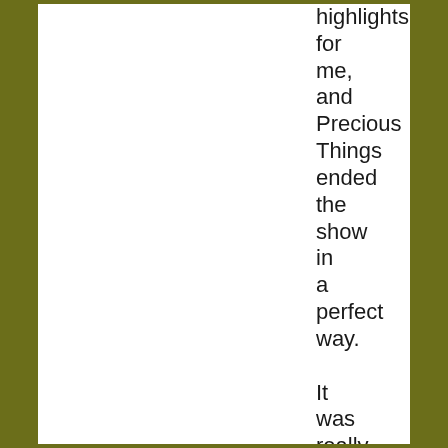highlights for me, and Precious Things ended the show in a perfect way.

It was really a shame that the show only lasted for 70 minutes. It was